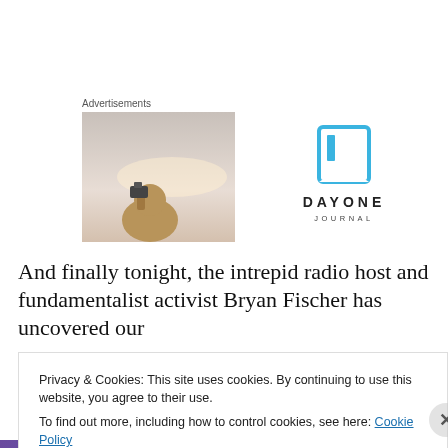Advertisements
[Figure (photo): Person holding a camera up against a sky background, advertisement image placeholder]
[Figure (logo): Day One Journal logo with blue bookmark icon and text DAYONE JOURNAL]
And finally tonight, the intrepid radio host and fundamentalist activist Bryan Fischer has uncovered our
Privacy & Cookies: This site uses cookies. By continuing to use this website, you agree to their use.
To find out more, including how to control cookies, see here: Cookie Policy
Close and accept